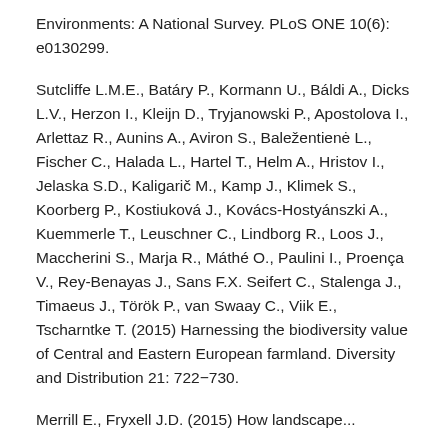Environments: A National Survey. PLoS ONE 10(6): e0130299.
Sutcliffe L.M.E., Batáry P., Kormann U., Báldi A., Dicks L.V., Herzon I., Kleijn D., Tryjanowski P., Apostolova I., Arlettaz R., Aunins A., Aviron S., Baležentienė L., Fischer C., Halada L., Hartel T., Helm A., Hristov I., Jelaska S.D., Kaligarič M., Kamp J., Klimek S., Koorberg P., Kostiuková J., Kovács-Hostyánszki A., Kuemmerle T., Leuschner C., Lindborg R., Loos J., Maccherini S., Marja R., Máthé O., Paulini I., Proença V., Rey-Benayas J., Sans F.X. Seifert C., Stalenga J., Timaeus J., Török P., van Swaay C., Viik E., Tscharntke T. (2015) Harnessing the biodiversity value of Central and Eastern European farmland. Diversity and Distribution 21: 722−730.
Merrill E., Fryxell J.D. (2015) How landscape...